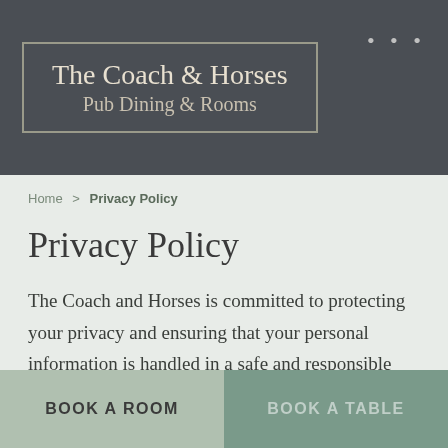The Coach & Horses Pub Dining & Rooms
Home > Privacy Policy
Privacy Policy
The Coach and Horses is committed to protecting your privacy and ensuring that your personal information is handled in a safe and responsible way.
BOOK A ROOM  BOOK A TABLE